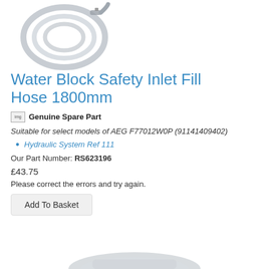[Figure (photo): Coiled water inlet fill hose, gray/silver colored, shown from above against white background.]
Water Block Safety Inlet Fill Hose 1800mm
Genuine Spare Part
Suitable for select models of AEG F77012W0P (91141409402)
Hydraulic System Ref 111
Our Part Number: RS623196
£43.75
Please correct the errors and try again.
[Figure (photo): Partial view of another appliance spare part at the bottom of the page.]